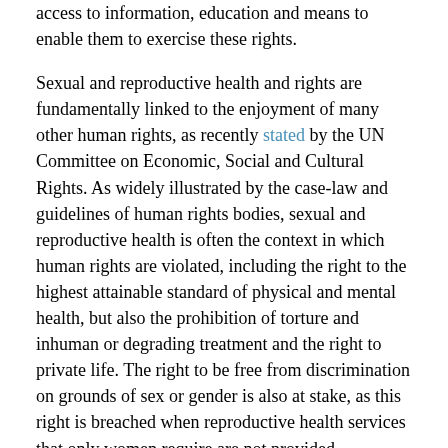access to information, education and means to enable them to exercise these rights.
Sexual and reproductive health and rights are fundamentally linked to the enjoyment of many other human rights, as recently stated by the UN Committee on Economic, Social and Cultural Rights. As widely illustrated by the case-law and guidelines of human rights bodies, sexual and reproductive health is often the context in which human rights are violated, including the right to the highest attainable standard of physical and mental health, but also the prohibition of torture and inhuman or degrading treatment and the right to private life. The right to be free from discrimination on grounds of sex or gender is also at stake, as this right is breached when reproductive health services that only women require are not provided.
Access to sexual and reproductive rights is a precondition for the realisation of other human rights, including in the fields of education and employment. At the same time